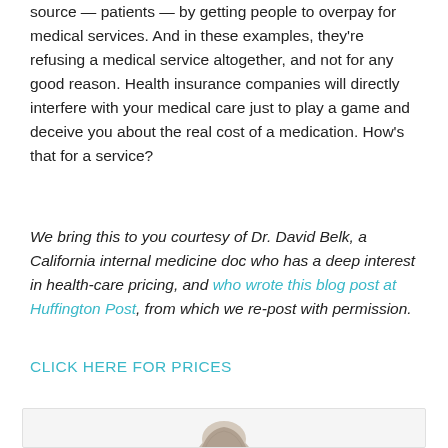source — patients — by getting people to overpay for medical services. And in these examples, they're refusing a medical service altogether, and not for any good reason. Health insurance companies will directly interfere with your medical care just to play a game and deceive you about the real cost of a medication. How's that for a service?
We bring this to you courtesy of Dr. David Belk, a California internal medicine doc who has a deep interest in health-care pricing, and who wrote this blog post at Huffington Post, from which we re-post with permission.
CLICK HERE FOR PRICES
[Figure (photo): Partial view of a person's head/hair at the bottom of the page, inside a light gray box]